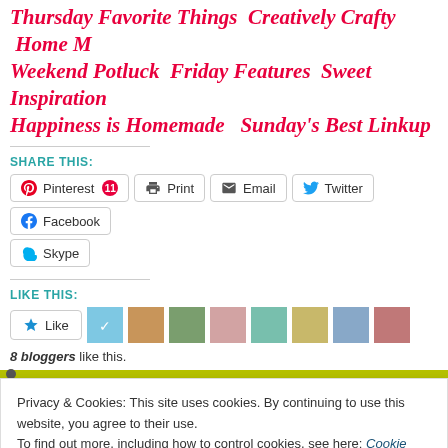Thursday Favorite Things  Creatively Crafty  Home M…  Weekend Potluck  Friday Features  Sweet Inspiration…  Happiness is Homemade  Sunday's Best Linkup
SHARE THIS:
Pinterest 11  Print  Email  Twitter  Facebook  Skype
LIKE THIS:
8 bloggers like this.
Privacy & Cookies: This site uses cookies. By continuing to use this website, you agree to their use. To find out more, including how to control cookies, see here: Cookie Policy
Close and accept